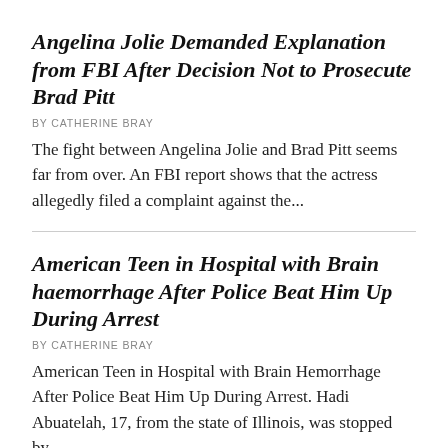Angelina Jolie Demanded Explanation from FBI After Decision Not to Prosecute Brad Pitt
BY CATHERINE BRAY
The fight between Angelina Jolie and Brad Pitt seems far from over. An FBI report shows that the actress allegedly filed a complaint against the...
American Teen in Hospital with Brain haemorrhage After Police Beat Him Up During Arrest
BY CATHERINE BRAY
American Teen in Hospital with Brain Hemorrhage After Police Beat Him Up During Arrest. Hadi Abuatelah, 17, from the state of Illinois, was stopped by...
China Warns Joe Biden Not to Play With Fire Over Taiwan